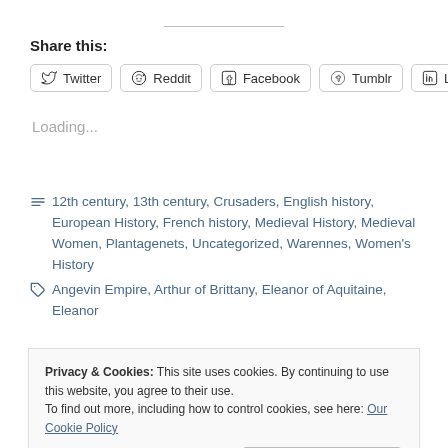Share this:
[Figure (infographic): Row of social share buttons: Twitter, Reddit, Facebook, Tumblr, LinkedIn]
Loading...
12th century, 13th century, Crusaders, English history, European History, French history, Medieval History, Medieval Women, Plantagenets, Uncategorized, Warennes, Women's History
Angevin Empire, Arthur of Brittany, Eleanor of Aquitaine, Eleanor ...
Privacy & Cookies: This site uses cookies. By continuing to use this website, you agree to their use. To find out more, including how to control cookies, see here: Our Cookie Policy
Close and accept
The Mysterious Knight